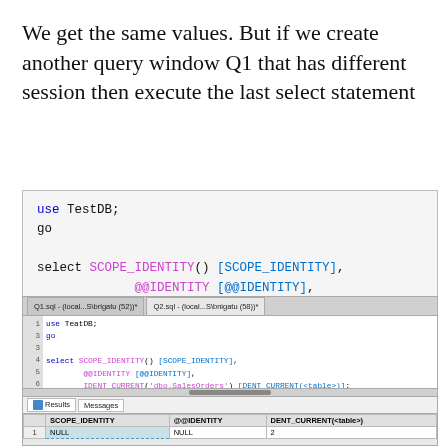We get the same values. But if we create another query window Q1 that has different session then execute the last select statement
[Figure (screenshot): SQL code block showing: use TestDB; go  select SCOPE_IDENTITY() [SCOPE_IDENTITY], @@IDENTITY [@@IDENTITY], IDENT_CURRENT('dbo.SalesOrders') [ID  go]
[Figure (screenshot): SQL Server Management Studio screenshot showing two query tabs Q1.sql and Q2.sql, code editor with the select statement, and results grid showing NULL, NULL, 2 for SCOPE_IDENTITY, @@IDENTITY, DENT_CURRENT(<table>) columns]